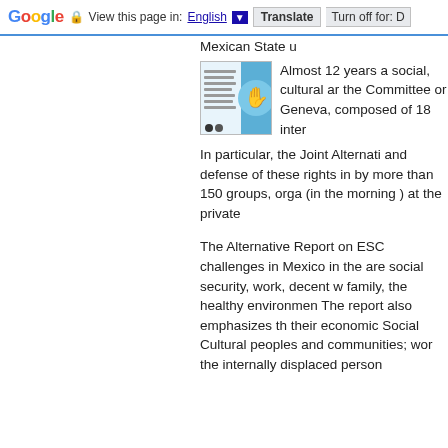Google | View this page in: English ▼ | Translate | Turn off for: D
[Figure (illustration): Thumbnail image of a book/report cover with blue circle and hand icon on the right side, small text lines on left side]
Mexican State u... Almost 12 years a social, cultural ar the Committee or Geneva, composed of 18 inter
In particular, the Joint Alternati and defense of these rights in by more than 150 groups, orga (in the morning ) at the private
The Alternative Report on ESC challenges in Mexico in the are social security, work, decent w family, the healthy environmen The report also emphasizes th their economic Social Cultural peoples and communities; wor the internally displaced person